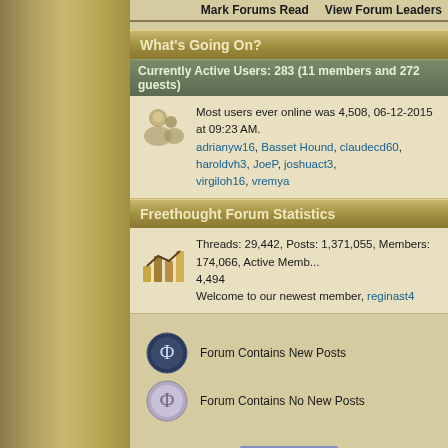Mark Forums Read   View Forum Leaders
What's Going On?
Currently Active Users: 283 (11 members and 272 guests)
Most users ever online was 4,508, 06-12-2015 at 09:23 AM. adrianyw16, Basset Hound, claudecd60, haroldvh3, JoeP, joshuact3, virgiloh16, vremya
Freethought Forum Statistics
Threads: 29,442, Posts: 1,371,055, Members: 174,066, Active Members: 4,494. Welcome to our newest member, reginast4
Forum Contains New Posts
Forum Contains No New Posts
[Figure (logo): PayPal Donate button]
All times are GMT +1. The time now is 02:00 PM.
-- Freethought Liquid   Contact Us - Freethought
Powered by vBulletin® Version 3.8.2